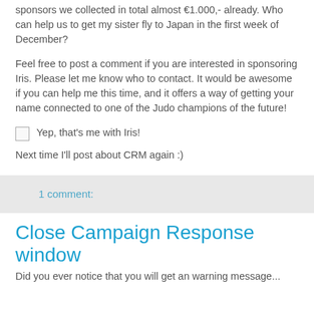sponsors we collected in total almost €1.000,- already. Who can help us to get my sister fly to Japan in the first week of December?
Feel free to post a comment if you are interested in sponsoring Iris. Please let me know who to contact. It would be awesome if you can help me this time, and it offers a way of getting your name connected to one of the Judo champions of the future!
Yep, that's me with Iris!
Next time I'll post about CRM again :)
1 comment:
Close Campaign Response window
Did you ever notice that you will get an warning message...